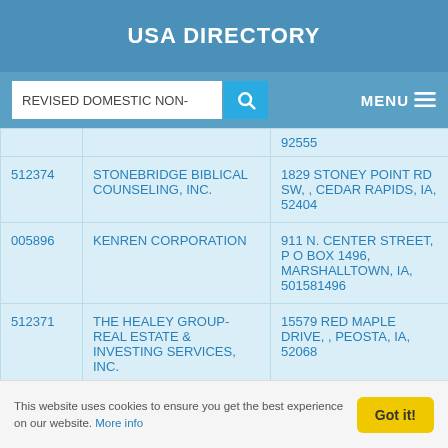USA DIRECTORY
REVISED DOMESTIC NON-  [search] MENU
|  |  |  |
| --- | --- | --- |
|  |  | 92555 |
| 512374 | STONEBRIDGE BIBLICAL COUNSELING, INC. | 1829 STONEY POINT RD SW, , CEDAR RAPIDS, IA, 52404 |
| 005896 | KENREN CORPORATION | 911 N. CENTER STREET, P O BOX 1496, MARSHALLTOWN, IA, 501581496 |
| 512371 | THE HEALEY GROUP-REAL ESTATE & INVESTING SERVICES, INC. | 15579 RED MAPLE DRIVE, , PEOSTA, IA, 52068 |
This website uses cookies to ensure you get the best experience on our website. More info
Got it!